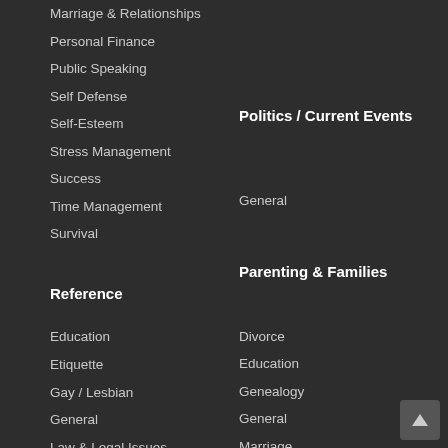Marriage & Relationships
Personal Finance
Public Speaking
Self Defense
Self-Esteem
Stress Management
Success
Time Management
Survival
Reference
Education
Etiquette
Gay / Lesbian
General
Law & Legal Issues
The Sciences
Politics / Current Events
General
Parenting & Families
Divorce
Education
Genealogy
General
Marriage
Parenting
Pregnancy & Childbirth
Special Needs